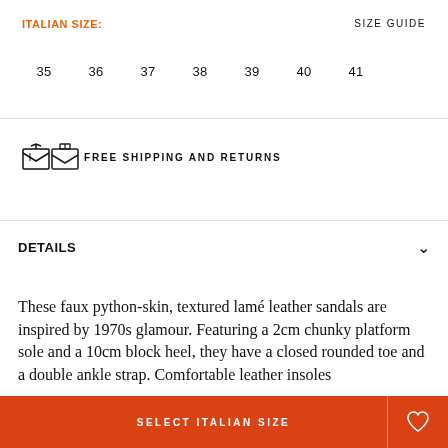ITALIAN SIZE:
SIZE GUIDE
35
36
37
38
39
40
41
FREE SHIPPING AND RETURNS
DETAILS
These faux python-skin, textured lamé leather sandals are inspired by 1970s glamour. Featuring a 2cm chunky platform sole and a 10cm block heel, they have a closed rounded toe and a double ankle strap. Comfortable leather insoles
SELECT ITALIAN SIZE